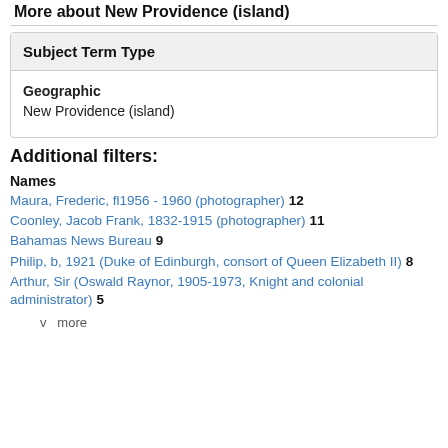More about New Providence (island)
| Subject Term Type |
| --- |
| Geographic | New Providence (island) |
Additional filters:
Names
Maura, Frederic, fl1956 - 1960 (photographer)  12
Coonley, Jacob Frank, 1832-1915 (photographer)  11
Bahamas News Bureau  9
Philip, b, 1921 (Duke of Edinburgh, consort of Queen Elizabeth II)  8
Arthur, Sir (Oswald Raynor, 1905-1973, Knight and colonial administrator)  5
v  more